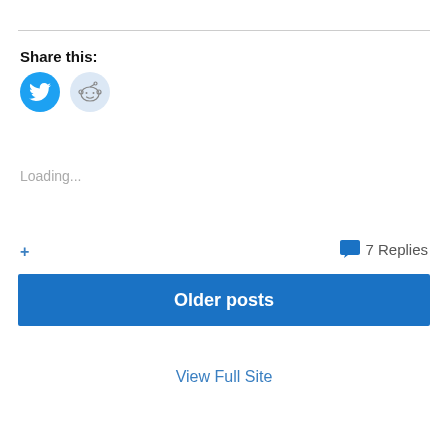Share this:
[Figure (illustration): Twitter bird icon (cyan circle) and Reddit alien icon (light blue circle)]
Loading...
+ 7 Replies
Older posts
View Full Site